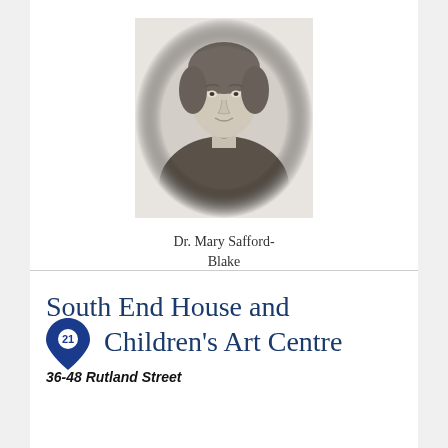[Figure (photo): Black and white portrait photograph of Dr. Mary Safford-Blake, a woman in Victorian-era clothing with hair pulled back, wearing a high-collared dark dress with a brooch.]
Dr. Mary Safford-Blake
South End House and Children's Art Centre
36-48 Rutland Street